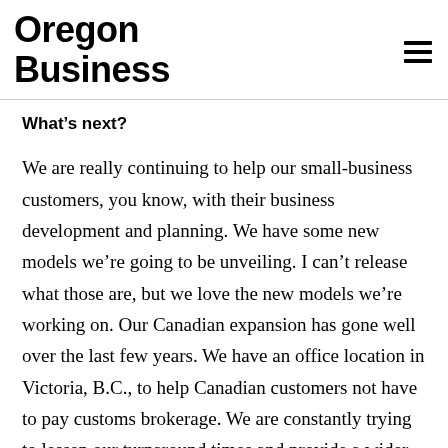Oregon Business
What’s next?
We are really continuing to help our small-business customers, you know, with their business development and planning. We have some new models we’re going to be unveiling. I can’t release what those are, but we love the new models we’re working on. Our Canadian expansion has gone well over the last few years. We have an office location in Victoria, B.C., to help Canadian customers not have to pay customs brokerage. We are constantly trying to lessen our turnaround times and provide a wider range of options at different price points and